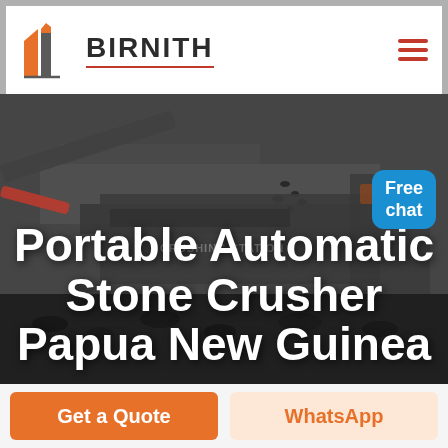[Figure (logo): Birnith company logo: orange angular building/tower icon with grey pillar, red underline beneath BIRNITH text, hamburger menu icon top right]
[Figure (photo): Industrial stone crushing station machinery in dark greyscale, showing conveyor belts and crushing equipment with stones falling. Text 'CRUSHING STATION' visible on equipment.]
Portable Automatic Stone Crusher Papua New Guinea
Free chat
Get a Quote
WhatsApp